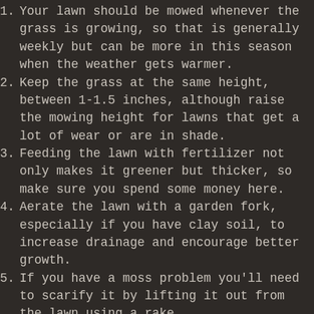Your lawn should be mowed whenever the grass is growing, so that is generally weekly but can be more in this season when the weather gets warmer.
Keep the grass at the same height, between 1-1.5 inches, although raise the mowing height for lawns that get a lot of wear or are in shade.
Feeding the lawn with fertilizer not only makes it greener but thicker, so make sure you spend some money here.
Aerate the lawn with a garden fork, especially if you have clay soil, to increase drainage and encourage better growth.
If you have a moss problem you'll need to scarify it by lifting it out from the lawn using a rake,